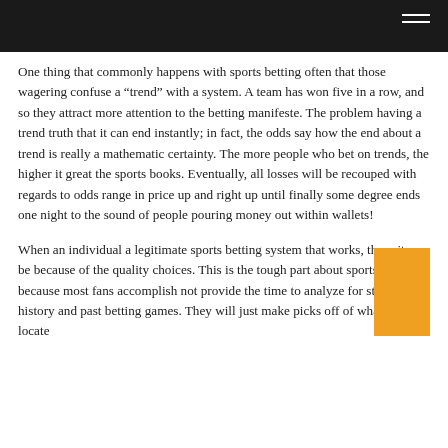One thing that commonly happens with sports betting often that those wagering confuse a “trend” with a system. A team has won five in a row, and so they attract more attention to the betting manifeste. The problem having a trend truth that it can end instantly; in fact, the odds say how the end about a trend is really a mathematic certainty. The more people who bet on trends, the higher it great the sports books. Eventually, all losses will be recouped with regards to odds range in price up and right up until finally some degree ends one night to the sound of people pouring money out within wallets!
When an individual a legitimate sports betting system that works, these items be because of the quality choices. This is the tough part about sports betting because most fans accomplish not provide the time to analyze for stats, history and past betting games. They will just make picks off of what how to locate